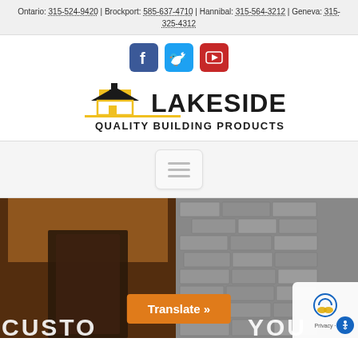Ontario: 315-524-9420 | Brockport: 585-637-4710 | Hannibal: 315-564-3212 | Geneva: 315-325-4312
[Figure (illustration): Social media icons: Facebook (blue), Twitter (blue), YouTube (red)]
[Figure (logo): Lakeside Quality Building Products logo with house silhouette and yellow accent line]
[Figure (other): Hamburger menu navigation button (three horizontal lines)]
[Figure (photo): Hero image showing stone wall and wooden door entrance of a building. Orange Translate button overlay. Text 'CUSTO... YOU' at bottom. Privacy badge in bottom right corner.]